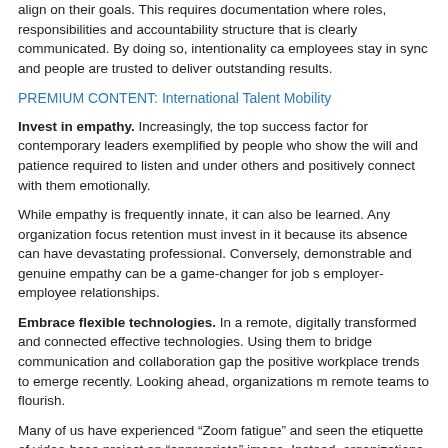align on their goals. This requires documentation where roles, responsibilities and accountability structure that is clearly communicated. By doing so, intentionality ca employees stay in sync and people are trusted to deliver outstanding results.
PREMIUM CONTENT: International Talent Mobility
Invest in empathy. Increasingly, the top success factor for contemporary leaders exemplified by people who show the will and patience required to listen and under others and positively connect with them emotionally.
While empathy is frequently innate, it can also be learned. Any organization focus retention must invest in it because its absence can have devastating professional. Conversely, demonstrable and genuine empathy can be a game-changer for job s employer-employee relationships.
Embrace flexible technologies. In a remote, digitally transformed and connected effective technologies. Using them to bridge communication and collaboration gap the positive workplace trends to emerge recently. Looking ahead, organizations m remote teams to flourish.
Many of us have experienced “Zoom fatigue” and seen the etiquette of video-base project an “appropriate” image. Instead, organizations should customize technolog needs. Flexible working benefits from a flexible approach to selecting digital tech.
Step up on Diversity, Equality and Inclusion. While organizations everywhere a societal and workplace DEI weaknesses, many others are paying little more than nuanced, but those that view DEI as an opportunity and an obligation will realize t